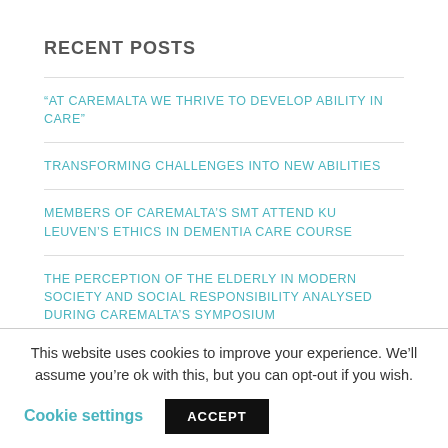RECENT POSTS
“AT CAREMALTA WE THRIVE TO DEVELOP ABILITY IN CARE”
TRANSFORMING CHALLENGES INTO NEW ABILITIES
MEMBERS OF CAREMALTA’S SMT ATTEND KU LEUVEN’S ETHICS IN DEMENTIA CARE COURSE
THE PERCEPTION OF THE ELDERLY IN MODERN SOCIETY AND SOCIAL RESPONSIBILITY ANALYSED DURING CAREMALTA’S SYMPOSIUM
“SELFLESS RESPECT IN A SELF-CENTERED WORLD IS ONE OF THE SECRETS TO BEING A GOOD FATHER”
This website uses cookies to improve your experience. We’ll assume you’re ok with this, but you can opt-out if you wish. Cookie settings ACCEPT